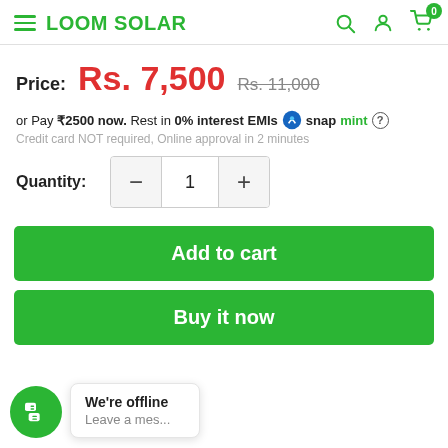LOOM SOLAR
Price: Rs. 7,500  Rs. 11,000
or Pay ₹2500 now. Rest in 0% interest EMIs snapmint ? Credit card NOT required, Online approval in 2 minutes
Quantity: 1
Add to cart
Buy it now
We're offline
Leave a mes...